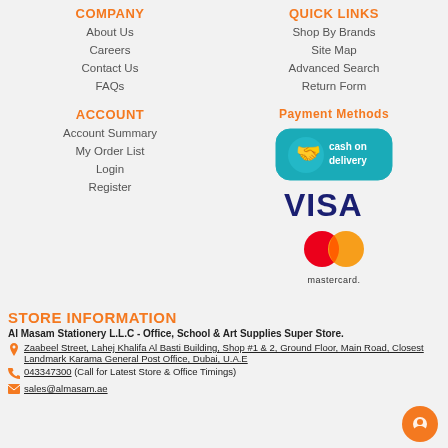COMPANY
About Us
Careers
Contact Us
FAQs
ACCOUNT
Account Summary
My Order List
Login
Register
QUICK LINKS
Shop By Brands
Site Map
Advanced Search
Return Form
Payment Methods
[Figure (other): Cash on delivery badge with hand holding money icon, teal/blue rounded rectangle background]
[Figure (other): VISA logo in dark blue bold text]
[Figure (other): Mastercard logo with overlapping red and orange circles and mastercard text]
STORE INFORMATION
Al Masam Stationery L.L.C - Office, School & Art Supplies Super Store.
Zaabeel Street, Lahej Khalifa Al Basti Building, Shop #1 & 2, Ground Floor, Main Road, Closest Landmark Karama General Post Office, Dubai, U.A.E
043347300 (Call for Latest Store & Office Timings)
sales@almasam.ae